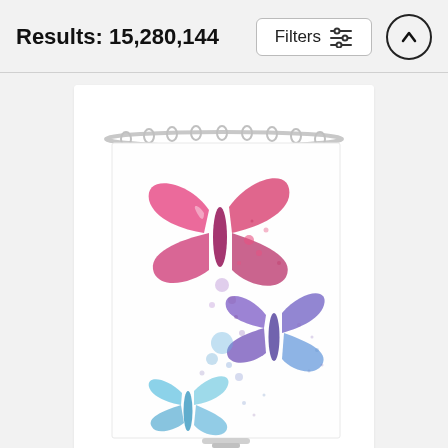Results: 15,280,144
[Figure (screenshot): A product listing screenshot showing a search result header with 'Results: 15,280,144', a Filters button with sliders icon, and an up-arrow circular button. Below is a product card showing a shower curtain printed with three watercolor butterflies — a large pink/magenta butterfly at top-center, a medium purple/blue butterfly at mid-right, and a small light-blue butterfly at bottom-left, with colorful paint splatter dots. The curtain hangs from a curved metal rod with silver rings.]